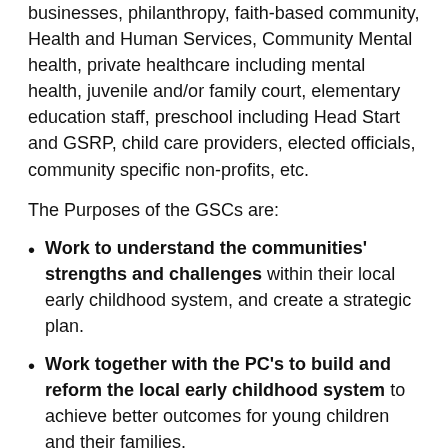businesses, philanthropy, faith-based community, Health and Human Services, Community Mental health, private healthcare including mental health, juvenile and/or family court, elementary education staff, preschool including Head Start and GSRP, child care providers, elected officials, community specific non-profits, etc.
The Purposes of the GSCs are:
Work to understand the communities' strengths and challenges within their local early childhood system, and create a strategic plan.
Work together with the PC's to build and reform the local early childhood system to achieve better outcomes for young children and their families.
Build the local system that can address the